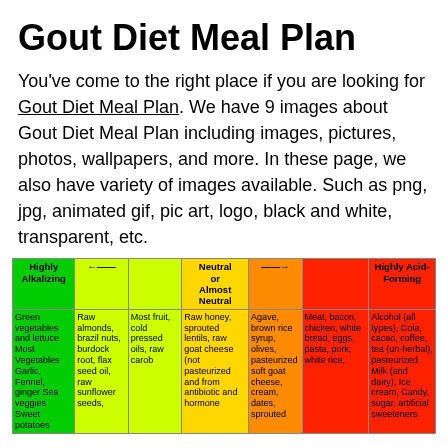Gout Diet Meal Plan
You’ve come to the right place if you are looking for Gout Diet Meal Plan. We have 9 images about Gout Diet Meal Plan including images, pictures, photos, wallpapers, and more. In these page, we also have variety of images available. Such as png, jpg, animated gif, pic art, logo, black and white, transparent, etc.
| Highly Alkalizing |  |  | Neutral or Almost Neutral |  | Highly Acid-Forming |  |
| --- | --- | --- | --- | --- | --- | --- |
| Green vegetables and lettuce Most Vegetables Garlic, Fennel, ginger Sea veggies Sweet potatoes | Raw almonds, brazil nuts, burdock root, flax seed oil, raw sunflower seeds, | Most fruit, cold pressed oils, raw carob | Raw honey, sprouted lentils, raw goat cheese (not pasteurized and from antibiotic and hormone | Agave, brown rice syrup, olives, pasteurized soft goat cheese, cream, dates, sprouted | Meat, bacon, chicken, white bread, eggs, pasta, pork, white rice, | Alcohol (all types), Cola, cacao, coffee, tea (un-herbal), pasteurized Milk (and dairy), Ice cream, Candy, sugar, artificial sweeteners |